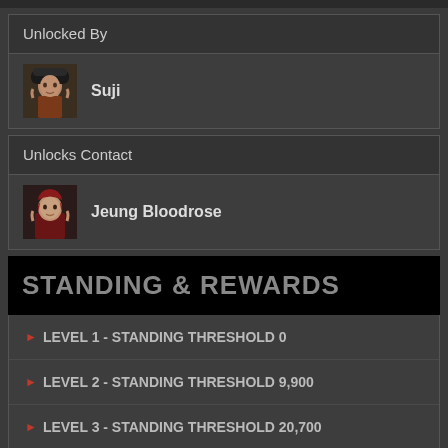Unlocked By
Suji
Unlocks Contact
Jeung Bloodrose
STANDING & REWARDS
▶ LEVEL 1 - STANDING THRESHOLD 0
▶ LEVEL 2 - STANDING THRESHOLD 9,900
▶ LEVEL 3 - STANDING THRESHOLD 20,700